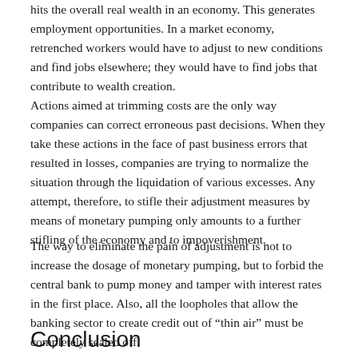hits the overall real wealth in an economy. This generates employment opportunities. In a market economy, retrenched workers would have to adjust to new conditions and find jobs elsewhere; they would have to find jobs that contribute to wealth creation.
Actions aimed at trimming costs are the only way companies can correct erroneous past decisions. When they take these actions in the face of past business errors that resulted in losses, companies are trying to normalize the situation through the liquidation of various excesses. Any attempt, therefore, to stifle their adjustment measures by means of monetary pumping only amounts to a further stifling of the economy and to impoverishment.
The way to eliminate the pain of adjustment is not to increase the dosage of monetary pumping, but to forbid the central bank to pump money and tamper with interest rates in the first place. Also, all the loopholes that allow the banking sector to create credit out of “thin air” must be completely sealed off.
Conclusion